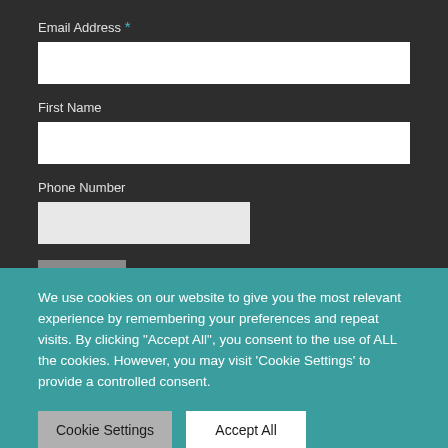Email Address *
First Name
Phone Number
Join
We use cookies on our website to give you the most relevant experience by remembering your preferences and repeat visits. By clicking "Accept All", you consent to the use of ALL the cookies. However, you may visit 'Cookie Settings' to provide a controlled consent.
Cookie Settings
Accept All